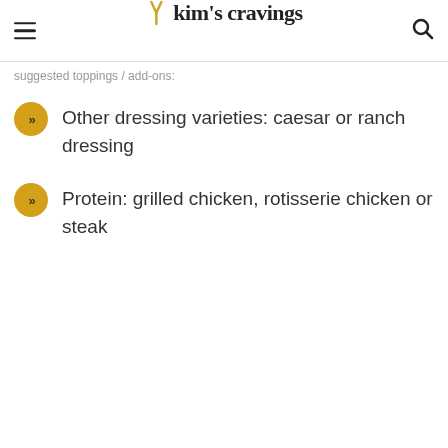Kim's Cravings
Suggested toppings/add-ons:
Other dressing varieties: caesar or ranch dressing
Protein: grilled chicken, rotisserie chicken or steak